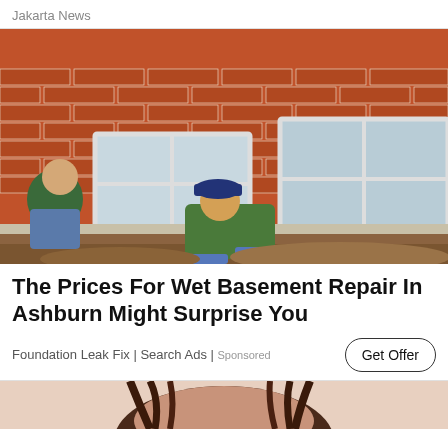Jakarta News
[Figure (photo): Two workers digging and doing foundation/basement repair work along the exterior brick wall of a house. Dirt is excavated along the foundation.]
The Prices For Wet Basement Repair In Ashburn Might Surprise You
Foundation Leak Fix | Search Ads | Sponsored
[Figure (photo): Partial view of a person's face/hair at the bottom of the page, cropped.]